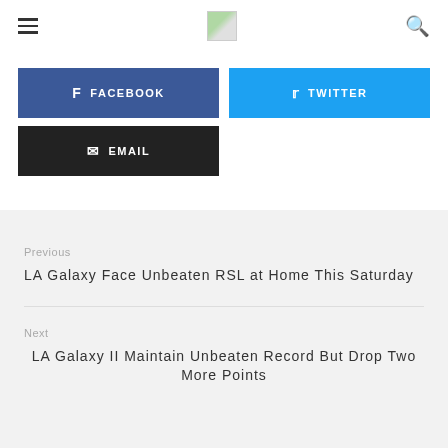≡ [logo] 🔍
f FACEBOOK
🐦 TWITTER
✉ EMAIL
Previous
LA Galaxy Face Unbeaten RSL at Home This Saturday
Next
LA Galaxy II Maintain Unbeaten Record But Drop Two More Points